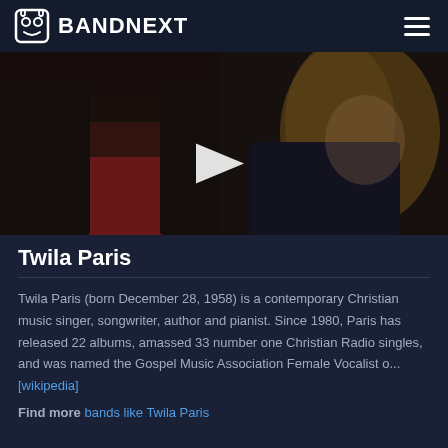BANDNEXT
[Figure (photo): Video thumbnail showing two people in a recording or interview setting with a play button overlay. A man in a red shirt and a woman with curly blonde hair are visible.]
Twila Paris
Twila Paris (born December 28, 1958) is a contemporary Christian music singer, songwriter, author and pianist. Since 1980, Paris has released 22 albums, amassed 33 number one Christian Radio singles, and was named the Gospel Music Association Female Vocalist o... [wikipedia]
Find more bands like Twila Paris